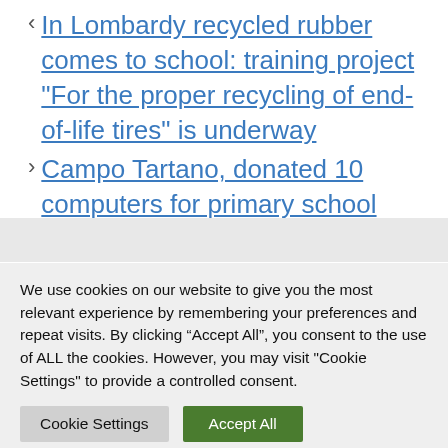In Lombardy recycled rubber comes to school: training project “For the proper recycling of end-of-life tires” is underway
Campo Tartano, donated 10 computers for primary school
Leave a Comment
We use cookies on our website to give you the most relevant experience by remembering your preferences and repeat visits. By clicking “Accept All”, you consent to the use of ALL the cookies. However, you may visit "Cookie Settings" to provide a controlled consent.